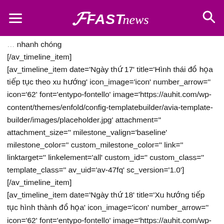FAST news
nhanh chóng
[/av_timeline_item]
[av_timeline_item date='Ngày thứ 17' title='Hình thái đồ họa tiếp tục theo xu hướng' icon_image='icon' number_arrow='' icon='62' font='entypo-fontello' image='https://auhit.com/wp-content/themes/enfold/config-templatebuilder/avia-template-builder/images/placeholder.jpg' attachment='' attachment_size='' milestone_valign='baseline' milestone_color='' custom_milestone_color='' link='' linktarget='' linkelement='all' custom_id='' custom_class='' template_class='' av_uid='av-47fq' sc_version='1.0']
[/av_timeline_item]
[av_timeline_item date='Ngày thứ 18' title='Xu hướng tiếp tục hình thành đồ họa' icon_image='icon' number_arrow='' icon='62' font='entypo-fontello' image='https://auhit.com/wp-